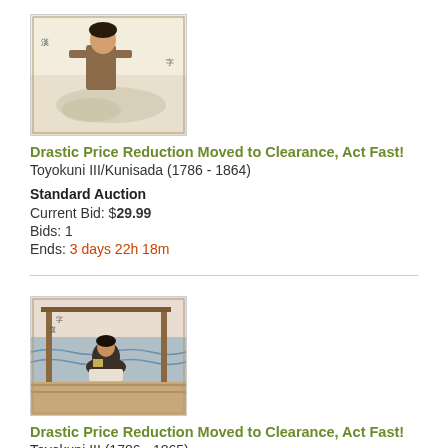[Figure (photo): Japanese woodblock print showing a figure in traditional clothing floating on clouds]
Drastic Price Reduction Moved to Clearance, Act Fast!
Toyokuni III/Kunisada (1786 - 1864)
Standard Auction
Current Bid: $29.99
Bids: 1
Ends: 3 days 22h 18m
[Figure (photo): Japanese woodblock print showing a figure crouching on a wooden dock or platform near water]
Drastic Price Reduction Moved to Clearance, Act Fast!
Toyokuni III (1786 - 1865)